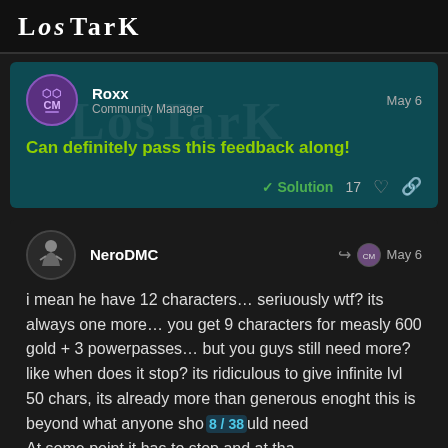Lost Ark
Roxx
Community Manager
May 6
Can definitely pass this feedback along!
✓ Solution  17 ♡ 🔗
NeroDMC
May 6
i mean he have 12 characters… seriuously wtf? its always one more… you get 9 characters for measly 600 gold + 3 powerpasses… but you guys still need more? like when does it stop? its ridiculous to give infinite lvl 50 chars, its already more than generous enoght this is beyond what anyone should need At some point it has to stop and at tha should start leveling the chars yoursel: